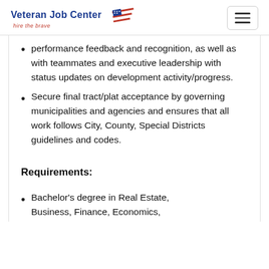Veteran Job Center — hire the brave
performance feedback and recognition, as well as with teammates and executive leadership with status updates on development activity/progress.
Secure final tract/plat acceptance by governing municipalities and agencies and ensures that all work follows City, County, Special Districts guidelines and codes.
Requirements:
Bachelor's degree in Real Estate, Business, Finance, Economics,